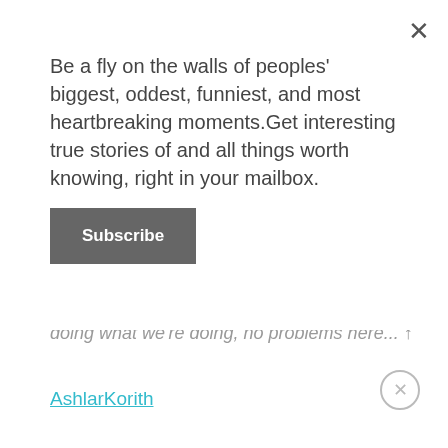Be a fly on the walls of peoples' biggest, oddest, funniest, and most heartbreaking moments.Get interesting true stories of and all things worth knowing, right in your mailbox.
Subscribe
doing what we're doing, no problems here...
AshlarKorith